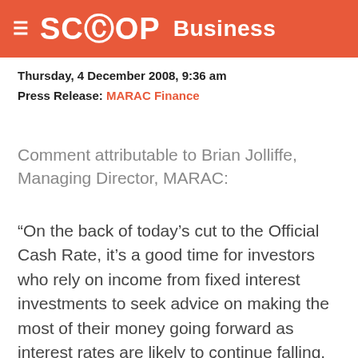SCOOP Business
Thursday, 4 December 2008, 9:36 am
Press Release: MARAC Finance
Comment attributable to Brian Jolliffe, Managing Director, MARAC:
“On the back of today’s cut to the Official Cash Rate, it’s a good time for investors who rely on income from fixed interest investments to seek advice on making the most of their money going forward as interest rates are likely to continue falling. Investors should consider locking in longer terms on fixed interest